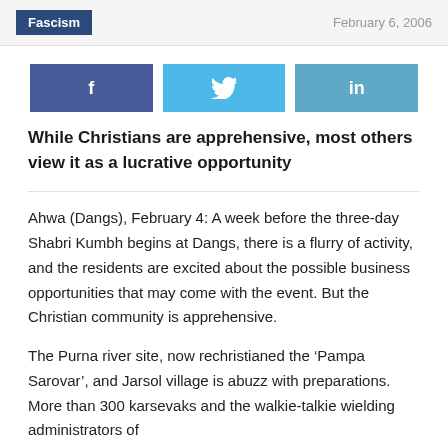Fascism   February 6, 2006
[Figure (infographic): Social media share buttons: Facebook (f), Twitter (bird icon), LinkedIn (in)]
While Christians are apprehensive, most others view it as a lucrative opportunity
Ahwa (Dangs), February 4: A week before the three-day Shabri Kumbh begins at Dangs, there is a flurry of activity, and the residents are excited about the possible business opportunities that may come with the event. But the Christian community is apprehensive.
The Purna river site, now rechristianed the ‘Pampa Sarovar’, and Jarsol village is abuzz with preparations. More than 300 karsevaks and the walkie-talkie wielding administrators of